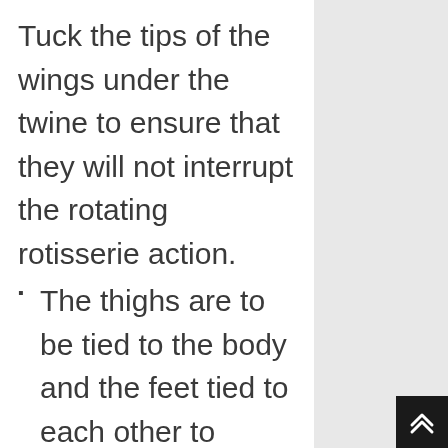Tuck the tips of the wings under the twine to ensure that they will not interrupt the rotating rotisserie action.
The thighs are to be tied to the body and the feet tied to each other to